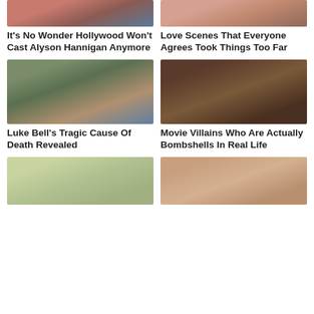[Figure (photo): Partial photo of a woman with red hair (Alyson Hannigan), cropped at top]
[Figure (photo): Partial photo of a person, cropped at top]
It's No Wonder Hollywood Won't Cast Alyson Hannigan Anymore
Love Scenes That Everyone Agrees Took Things Too Far
[Figure (photo): Man with cowboy hat singing into microphone (Luke Bell)]
[Figure (photo): Person with dreadlocks making exaggerated expression, movie villain]
Luke Bell's Tragic Cause Of Death Revealed
Movie Villains Who Are Actually Bombshells In Real Life
[Figure (photo): Young child with brown hair smiling]
[Figure (photo): Animated/digital woman with brown hair, eyes closed]